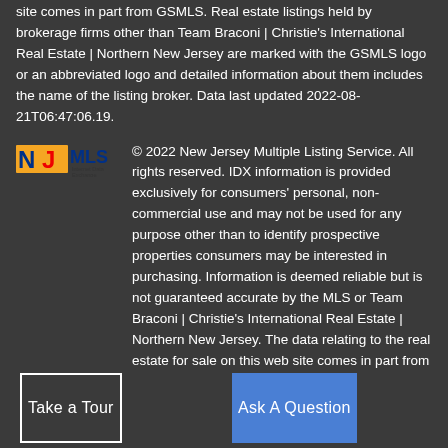site comes in part from GSMLS. Real estate listings held by brokerage firms other than Team Braconi | Christie's International Real Estate | Northern New Jersey are marked with the GSMLS logo or an abbreviated logo and detailed information about them includes the name of the listing broker. Data last updated 2022-08-21T06:47:06.19.
[Figure (logo): NJMLS Internet Data Exchange logo]
© 2022 New Jersey Multiple Listing Service. All rights reserved. IDX information is provided exclusively for consumers' personal, non-commercial use and may not be used for any purpose other than to identify prospective properties consumers may be interested in purchasing. Information is deemed reliable but is not guaranteed accurate by the MLS or Team Braconi | Christie's International Real Estate | Northern New Jersey. The data relating to the real estate for sale on this web site comes in part from the Internet Data Exchange Program of the NJMLS. Real estate listings held by brokerage firms other than Team Braconi | Christie's International Real Estate | Northern New Jersey are marked with the Internet Data Exchange logo and
Take a Tour
Ask A Question